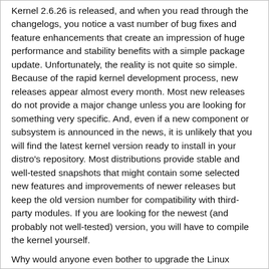Kernel 2.6.26 is released, and when you read through the changelogs, you notice a vast number of bug fixes and feature enhancements that create an impression of huge performance and stability benefits with a simple package update. Unfortunately, the reality is not quite so simple. Because of the rapid kernel development process, new releases appear almost every month. Most new releases do not provide a major change unless you are looking for something very specific. And, even if a new component or subsystem is announced in the news, it is unlikely that you will find the latest kernel version ready to install in your distro's repository. Most distributions provide stable and well-tested snapshots that might contain some selected new features and improvements of newer releases but keep the old version number for compatibility with third-party modules. If you are looking for the newest (and probably not well-tested) version, you will have to compile the kernel yourself.
Why would anyone even bother to upgrade the Linux kernel? If you spend a lot of time hacking your Linux system, you might find yourself needing to repair a system that broke because you forgot to activate an important option. Or, in some cases, a new kernel might contain a driver or support a module that offers improved hardware support. In other situations, the update might address an urgent security problem.